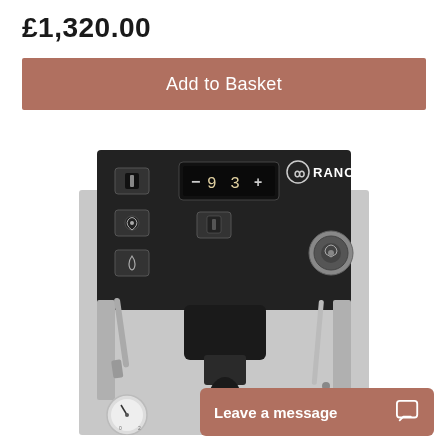£1,320.00
Add to Basket
[Figure (photo): Top-down view of a Rancilio espresso machine in black/stainless steel, showing control panel with switches, digital temperature display showing 93, Rancilio logo, steam wand, and portafilter group head.]
Leave a message